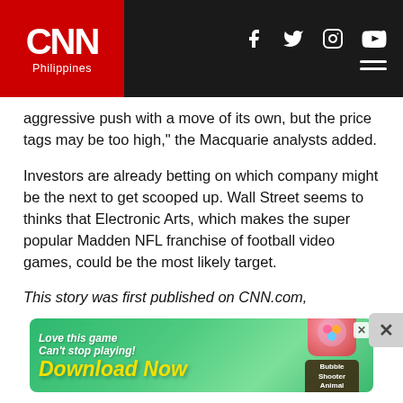CNN Philippines
aggressive push with a move of its own, but the price tags may be too high," the Macquarie analysts added.
Investors are already betting on which company might be the next to get scooped up. Wall Street seems to thinks that Electronic Arts, which makes the super popular Madden NFL franchise of football video games, could be the most likely target.
This story was first published on CNN.com, "Microsoft's Activision Blizzard deal poses 'monumental challenge' to Sony."
ADVERTISEMENT
[Figure (screenshot): Advertisement banner - game app download ad reading 'Love this game Can't stop playing! Download Now' with Bubble Shooter Animal World branding]